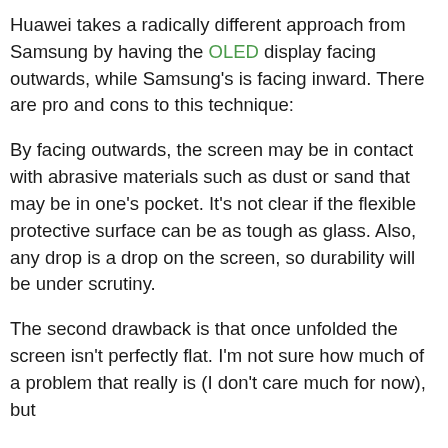Huawei takes a radically different approach from Samsung by having the OLED display facing outwards, while Samsung's is facing inward. There are pro and cons to this technique:
By facing outwards, the screen may be in contact with abrasive materials such as dust or sand that may be in one's pocket. It's not clear if the flexible protective surface can be as tough as glass. Also, any drop is a drop on the screen, so durability will be under scrutiny.
The second drawback is that once unfolded the screen isn't perfectly flat. I'm not sure how much of a problem that really is (I don't care much for now), but